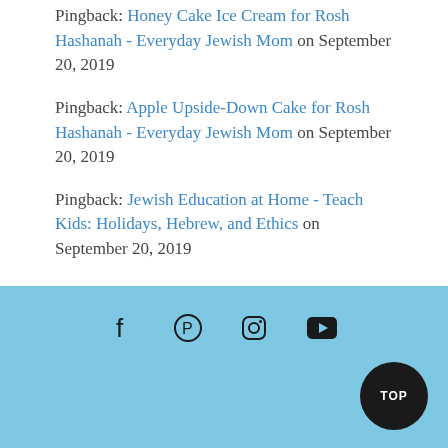Pingback: Honey Cake Ice Cream for Rosh Hashanah - Everyday Jewish Mom on September 20, 2019
Pingback: Apple Upside-Down Cake for Rosh Hashanah - Everyday Jewish Mom on September 20, 2019
Pingback: Jewish Education at Home - Teach Kids: Holidays, Hebrew, and Ethics on September 20, 2019
Social icons: Facebook, Pinterest, Instagram, YouTube. TOP button.